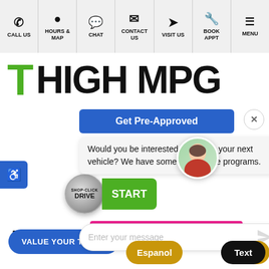[Figure (screenshot): Website navigation bar with icons: CALL US, HOURS & MAP, CHAT, CONTACT US, VISIT US, BOOK APPT, MENU]
[Figure (logo): High MPG logo with green T and black HIGH MPG text]
[Figure (screenshot): Chat overlay with Get Pre-Approved button, avatar, message about leasing, Shop-Click Drive badge, chat input field]
Would you be interested in leasing your next vehicle? We have some great lease programs.
Enter your message
VALUE YOUR TRADE
NEW 2022 T
LT Redline Edition
Espanol
Chat
Text